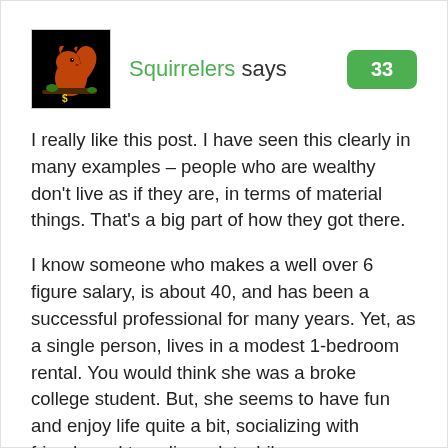[Figure (photo): Avatar image of a red squirrel on a branch with a dollar sign, on a black background]
Squirrelers says
33
I really like this post. I have seen this clearly in many examples – people who are wealthy don't live as if they are, in terms of material things. That's a big part of how they got there.
I know someone who makes a well over 6 figure salary, is about 40, and has been a successful professional for many years. Yet, as a single person, lives in a modest 1-bedroom rental. You would think she was a broke college student. But, she seems to have fun and enjoy life quite a bit, socializing with friends and traveling a lot while